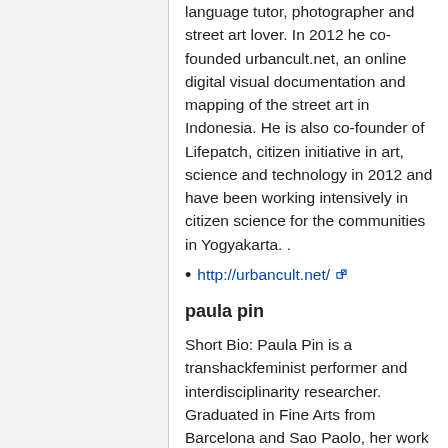language tutor, photographer and street art lover. In 2012 he co-founded urbancult.net, an online digital visual documentation and mapping of the street art in Indonesia. He is also co-founder of Lifepatch, citizen initiative in art, science and technology in 2012 and have been working intensively in citizen science for the communities in Yogyakarta. .
http://urbancult.net/
paula pin
Short Bio: Paula Pin is a transhackfeminist performer and interdisciplinarity researcher. Graduated in Fine Arts from Barcelona and Sao Paolo, her work ranges from abstract video to circuit bending to investigations at the frontiers of biology,cybernetics and queer science. Her performance piece